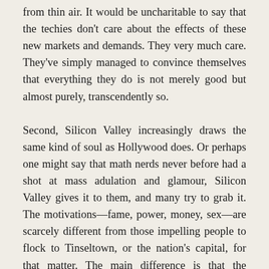from thin air. It would be uncharitable to say that the techies don't care about the effects of these new markets and demands. They very much care. They've simply managed to convince themselves that everything they do is not merely good but almost purely, transcendently so.
Second, Silicon Valley increasingly draws the same kind of soul as Hollywood does. Or perhaps one might say that math nerds never before had a shot at mass adulation and glamour, Silicon Valley gives it to them, and many try to grab it. The motivations—fame, power, money, sex—are scarcely different from those impelling people to flock to Tinseltown, or the nation's capital, for that matter. The main difference is that the rewards in Silicon Valley are vastly greater, for the few who manage to